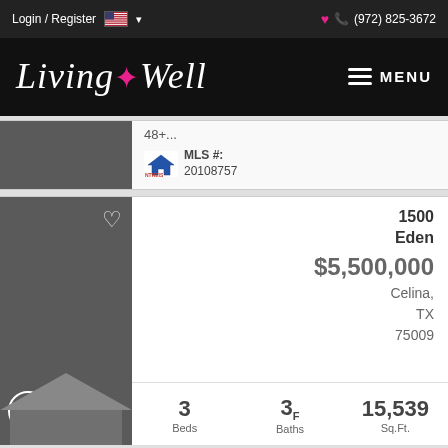Login / Register  🇺🇸 ▾   (972) 825-3672
[Figure (logo): Living Well real estate brand logo with pink fleur-de-lis, white italic script text on black background, MENU hamburger button]
48+...
MLS #: 20108757
1500 Eden
$5,500,000
Celina, TX 75009
3 Beds   3F Baths   15,539 Sq.Ft.